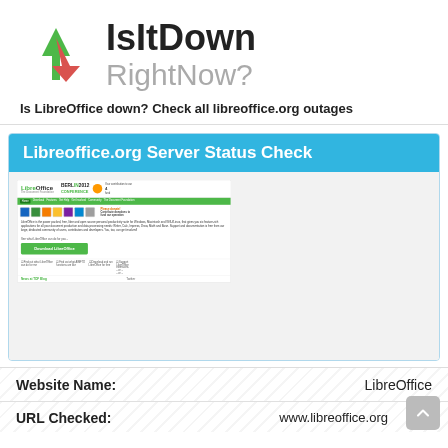[Figure (logo): IsItDownRightNow? logo with upward green arrow and downward red arrow]
Is LibreOffice down? Check all libreoffice.org outages
Libreoffice.org Server Status Check
[Figure (screenshot): Screenshot of the LibreOffice website homepage showing the LibreOffice logo, Berlin 2012 Conference banner, navigation bar, document icons, Download LibreOffice button, and News/Twitter sections]
| Website Name: | LibreOffice |
| URL Checked: | www.libreoffice.org |